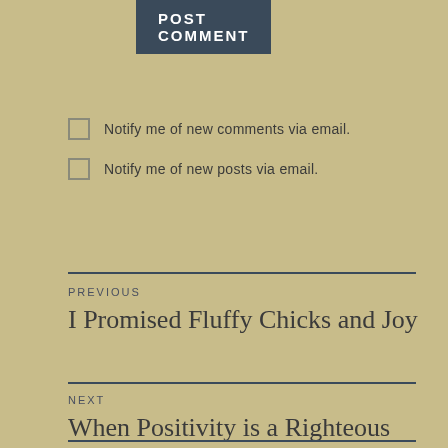POST COMMENT
Notify me of new comments via email.
Notify me of new posts via email.
PREVIOUS
I Promised Fluffy Chicks and Joy
NEXT
When Positivity is a Righteous Struggle